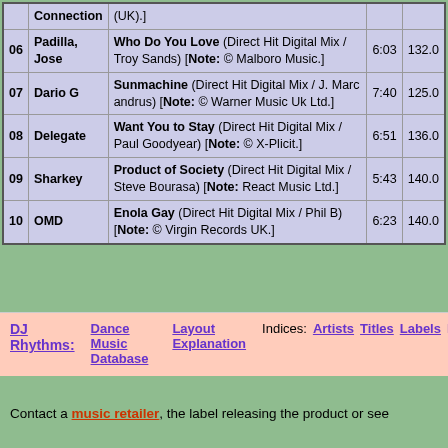| # | Artist | Title / Info | Time | BPM |
| --- | --- | --- | --- | --- |
|  | Connection | (UK).] |  |  |
| 06 | Padilla, Jose | Who Do You Love (Direct Hit Digital Mix / Troy Sands) [Note: © Malboro Music.] | 6:03 | 132.0 |
| 07 | Dario G | Sunmachine (Direct Hit Digital Mix / J. Marc andrus) [Note: © Warner Music Uk Ltd.] | 7:40 | 125.0 |
| 08 | Delegate | Want You to Stay (Direct Hit Digital Mix / Paul Goodyear) [Note: © X-Plicit.] | 6:51 | 136.0 |
| 09 | Sharkey | Product of Society (Direct Hit Digital Mix / Steve Bourasa) [Note: React Music Ltd.] | 5:43 | 140.0 |
| 10 | OMD | Enola Gay (Direct Hit Digital Mix / Phil B) [Note: © Virgin Records UK.] | 6:23 | 140.0 |
DJ Rhythms: Dance Music Database  Layout Explanation  Indices: Artists  Titles  Labels
Contact a music retailer, the label releasing the product or see